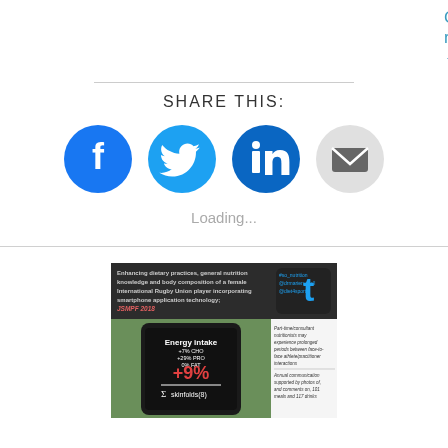Continue reading →
SHARE THIS:
[Figure (infographic): Social share icons: Facebook (blue circle), Twitter (light blue circle), LinkedIn (dark blue circle), Email (gray circle with envelope icon)]
Loading...
[Figure (infographic): Research article thumbnail showing a smartphone with energy intake data: +9% with +7% CHO +29% PRO 0% FAT, and skinfolds formula, with text about enhancing dietary practices for a female international Rugby Union player using smartphone app technology, JSMPF 2018]